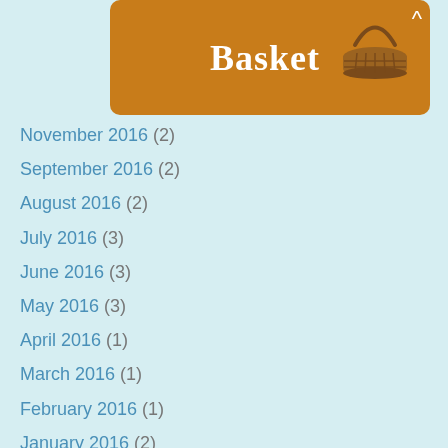Basket
November 2016 (2)
September 2016 (2)
August 2016 (2)
July 2016 (3)
June 2016 (3)
May 2016 (3)
April 2016 (1)
March 2016 (1)
February 2016 (1)
January 2016 (2)
December 2015 (2)
November 2015 (2)
October 2015 (2)
September 2015 (4)
July 2015 (5)
June 2015 (5)
May 2015 (3)
April 2015 (2)
March 2015 (3)
February 2015 (1)
January 2015 (2)
December 2014 (1)
November 2014 (3)
October 2014 (4)
September 2014 (4)
June 2014 (4)
May 2014 (4)